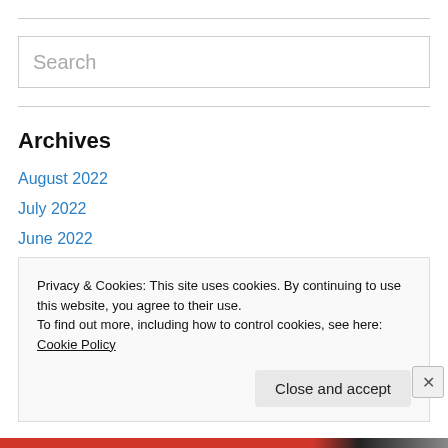[Figure (other): Search input box with placeholder text 'Search']
Archives
August 2022
July 2022
June 2022
May 2022
April 2022
March 2022
Privacy & Cookies: This site uses cookies. By continuing to use this website, you agree to their use. To find out more, including how to control cookies, see here: Cookie Policy
Close and accept